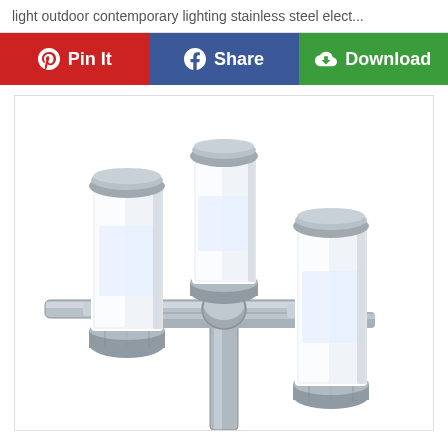light outdoor contemporary lighting stainless steel elect...
[Figure (photo): Three-head contemporary outdoor lighting fixture with stainless steel cylindrical lamp housings mounted on a central pole bracket, each housing containing a frosted white glass cylinder light]
Pin It
Share
Download